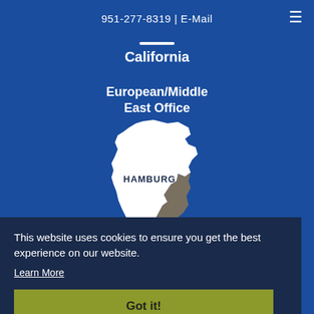951-277-8319 | E-Mail
California
European/Middle East Office
[Figure (map): White silhouette map of Germany with Hamburg label, transitioning to gray in lower portion, displayed on blue background]
This website uses cookies to ensure you get the best experience on our website.
Learn More
Got it!
East Coast US Office
FLAT ROCK